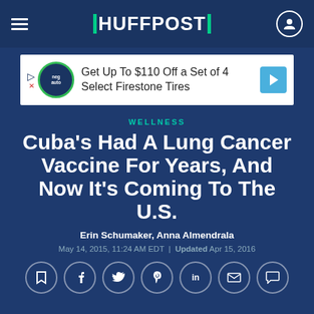HUFFPOST
[Figure (other): Advertisement banner: Get Up To $110 Off a Set of 4 Select Firestone Tires]
WELLNESS
Cuba's Had A Lung Cancer Vaccine For Years, And Now It's Coming To The U.S.
Erin Schumaker, Anna Almendrala
May 14, 2015, 11:24 AM EDT | Updated Apr 15, 2016
[Figure (other): Social sharing icons row: bookmark, Facebook, Twitter, Pinterest, LinkedIn, email, comment]